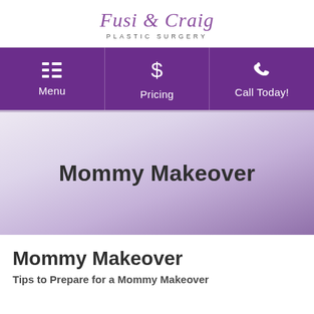[Figure (logo): Fusi & Craig Plastic Surgery logo with script-style purple text and uppercase subtitle]
[Figure (screenshot): Navigation bar with three purple buttons: Menu (list icon), Pricing (dollar sign icon), Call Today! (phone icon)]
Mommy Makeover
Mommy Makeover
Tips to Prepare for a Mommy Makeover